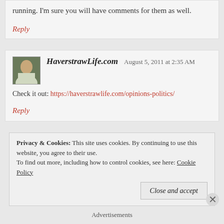running. I'm sure you will have comments for them as well.
Reply
HaverstrawLife.com   August 5, 2011 at 2:35 AM
Check it out: https://haverstrawlife.com/opinions-politics/
Reply
Privacy & Cookies: This site uses cookies. By continuing to use this website, you agree to their use. To find out more, including how to control cookies, see here: Cookie Policy
Close and accept
Advertisements